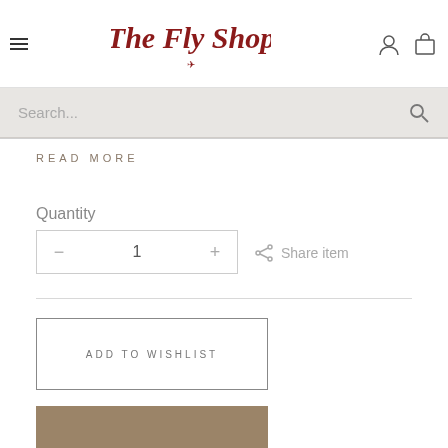The Fly Shop
Search...
READ MORE
Quantity
− 1 +
Share item
ADD TO WISHLIST